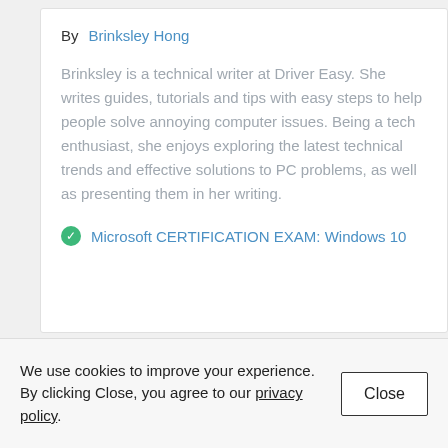By  Brinksley Hong
Brinksley is a technical writer at Driver Easy. She writes guides, tutorials and tips with easy steps to help people solve annoying computer issues. Being a tech enthusiast, she enjoys exploring the latest technical trends and effective solutions to PC problems, as well as presenting them in her writing.
Microsoft CERTIFICATION EXAM: Windows 10
We use cookies to improve your experience. By clicking Close, you agree to our privacy policy.